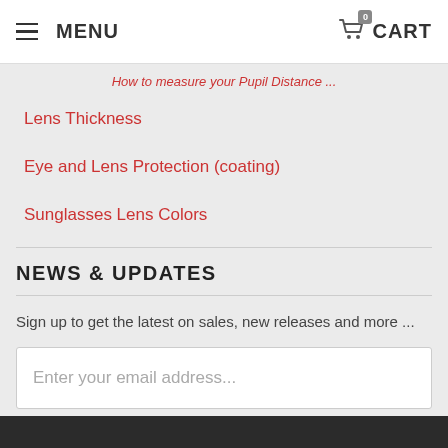MENU | 0 CART
Lens Thickness
Eye and Lens Protection (coating)
Sunglasses Lens Colors
NEWS & UPDATES
Sign up to get the latest on sales, new releases and more ...
Enter your email address...
SIGN UP